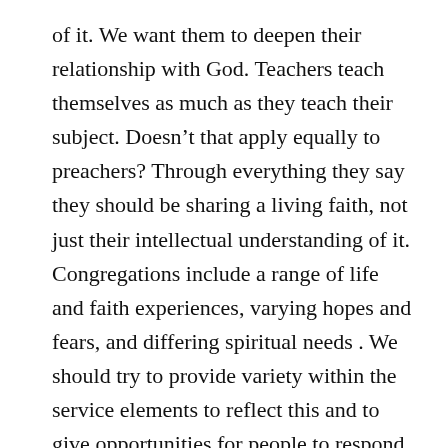of it. We want them to deepen their relationship with God. Teachers teach themselves as much as they teach their subject. Doesn't that apply equally to preachers? Through everything they say they should be sharing a living faith, not just their intellectual understanding of it. Congregations include a range of life and faith experiences, varying hopes and fears, and differing spiritual needs . We should try to provide variety within the service elements to reflect this and to give opportunities for people to respond individually ln the way most appropriate for them at their differing points on their spiritual journeys.